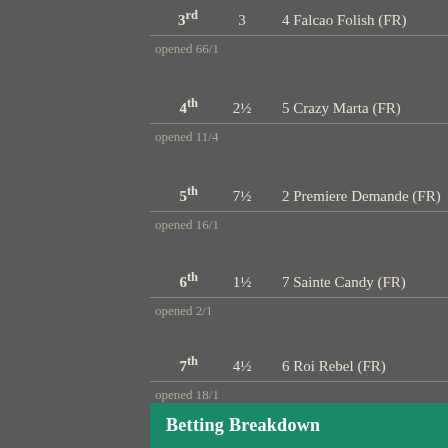3rd  3  4 Falcao Folish (FR)
opened 66/1
4th  2½  5 Crazy Marta (FR)
opened 11/4
5th  7½  2 Premiere Demande (FR)
opened 16/1
6th  1½  7 Sainte Candy (FR)
opened 2/1
7th  4½  6 Roi Rebel (FR)
opened 18/1
Betting Breakdown